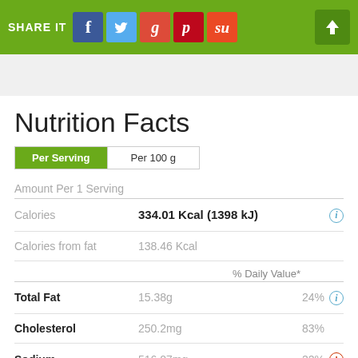SHARE IT [Facebook] [Twitter] [Google+] [Pinterest] [StumbleUpon] [Upload]
Nutrition Facts
Per Serving | Per 100g
Amount Per 1 Serving
|  | Value | % Daily Value* |  |
| --- | --- | --- | --- |
| Calories | 334.01 Kcal (1398 kJ) |  |  |
| Calories from fat | 138.46 Kcal |  |  |
| Total Fat | 15.38g | 24% |  |
| Cholesterol | 250.2mg | 83% |  |
| Sodium | 516.07mg | 22% |  |